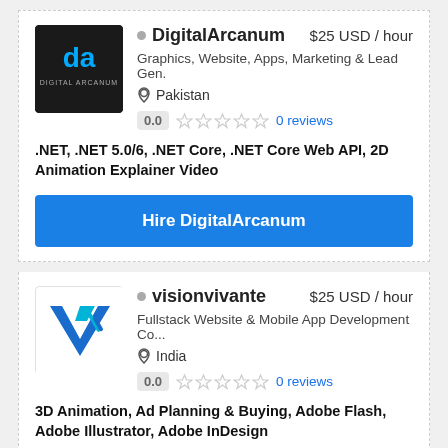[Figure (logo): DigitalArcanum logo - black square with 'da' letters in blue/white stylized text and 'DIGITAL ARCANUM' text below]
DigitalArcanum   $25 USD / hour
Graphics, Website, Apps, Marketing & Lead Gen.
Pakistan
0.0  ☆☆☆☆☆  0 reviews
.NET, .NET 5.0/6, .NET Core, .NET Core Web API, 2D Animation Explainer Video
Hire DigitalArcanum
[Figure (logo): visionvivante logo - white background with blue/teal V-shaped geometric mark with diagonal lines]
visionvivante   $25 USD / hour
Fullstack Website & Mobile App Development Co...
India
0.0  ☆☆☆☆☆  0 reviews
3D Animation, Ad Planning & Buying, Adobe Flash, Adobe Illustrator, Adobe InDesign